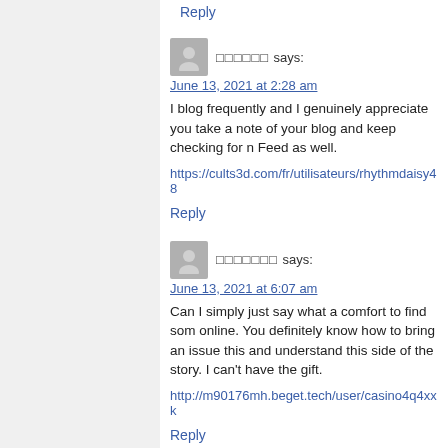Reply (top, cut off)
[Figure (illustration): Gray avatar icon for first commenter]
□□□□□□ says:
June 13, 2021 at 2:28 am
I blog frequently and I genuinely appreciate your content. take a note of your blog and keep checking for new information about once a week. I subscribed to your Feed as well.
https://cults3d.com/fr/utilisateurs/rhythmdaisy48
Reply
[Figure (illustration): Gray avatar icon for second commenter]
□□□□□□□ says:
June 13, 2021 at 6:07 am
Can I simply just say what a comfort to find someone online. You definitely know how to bring an issue to light and understand this side of the story. I can't believe more people don't have the gift.
http://m90176mh.beget.tech/user/casino4q4xxk
Reply
[Figure (illustration): Gray avatar icon for third commenter]
Bahis Sitesi says:
June 13, 2021 at 6:16 am